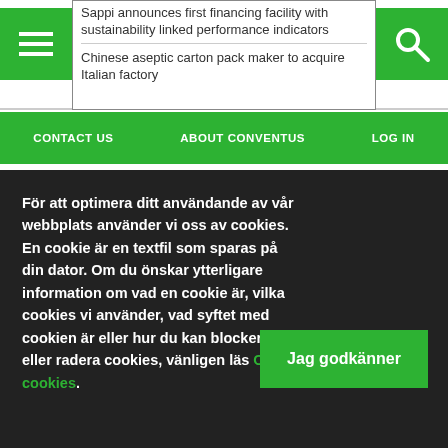Sappi announces first financing facility with sustainability linked performance indicators
Chinese aseptic carton pack maker to acquire Italian factory
CONTACT US  ABOUT CONVENTUS  LOG IN
För att optimera ditt användande av vår webbplats använder vi oss av cookies. En cookie är en textfil som sparas på din dator. Om du önskar ytterligare information om vad en cookie är, vilka cookies vi använder, vad syftet med cookien är eller hur du kan blockera eller radera cookies, vänligen läs Om cookies.